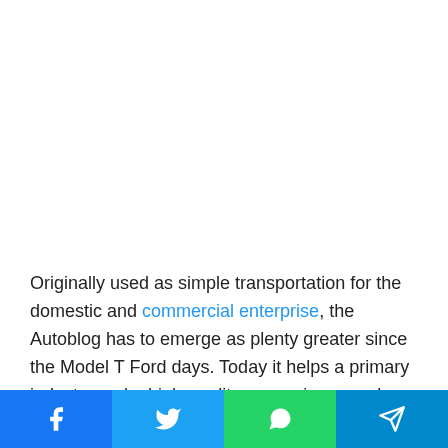Originally used as simple transportation for the domestic and commercial enterprise, the Autoblog has to emerge as plenty greater since the Model T Ford days. Today it helps a primary industry and a high-quality convenience and better standard water pollution of living for so many Autoblog. But the bad
[Figure (other): Social media share buttons bar: Facebook (blue), Twitter (light blue), WhatsApp (green), Telegram (dark blue)]